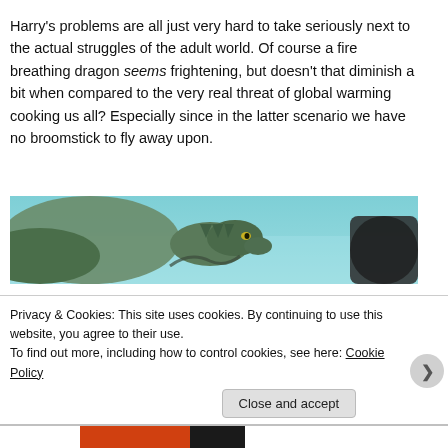Harry's problems are all just very hard to take seriously next to the actual struggles of the adult world. Of course a fire breathing dragon seems frightening, but doesn't that diminish a bit when compared to the very real threat of global warming cooking us all? Especially since in the latter scenario we have no broomstick to fly away upon.
[Figure (photo): A dragon or fantasy creature partially visible, with teal/blue-green background, appearing to be a film still or fantasy illustration.]
Privacy & Cookies: This site uses cookies. By continuing to use this website, you agree to their use.
To find out more, including how to control cookies, see here: Cookie Policy
Close and accept